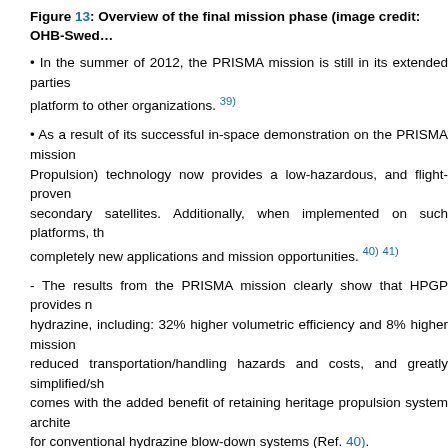Figure 13: Overview of the final mission phase (image credit: OHB-Swed…
• In the summer of 2012, the PRISMA mission is still in its extended parties … platform to other organizations. 39)
• As a result of its successful in-space demonstration on the PRISMA mission … Propulsion) technology now provides a low-hazardous, and flight-proven … secondary satellites. Additionally, when implemented on such platforms, th… completely new applications and mission opportunities. 40) 41)
- The results from the PRISMA mission clearly show that HPGP provides n… hydrazine, including: 32% higher volumetric efficiency and 8% higher mission… reduced transportation/handling hazards and costs, and greatly simplified/sh… comes with the added benefit of retaining heritage propulsion system archite… for conventional hydrazine blow-down systems (Ref. 40).
• In 2012, the PRISMA mission is operational and in its "external parties miss… objectives have been fulfilled during the so-called "basic mission phase" which… that the external parties mission phase will last until the Summer of 2012 (for c… parties mission phase, old and new partners are invited to execute new expe… platform. An example: DLR is again contributing to PRISMA with the ARGO… GPS and Optical Navigation) experiment. 42) Mission operations are under responsibility of OHB-Sweden AB (former Spa… the marketing of PRISMA to attract new "customers".
• In September 2011, SPACE-SI (Slovenian Centre of Excellence for Spac…